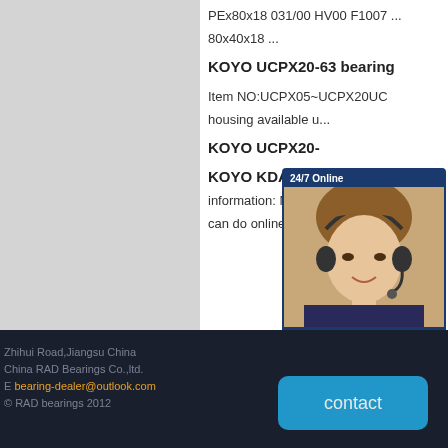[Figure (photo): Gray placeholder image panel on the left side of the page]
PEx80x18 031/00 HV00 F1007 ...
80x40x18 ...
KOYO UCPX20-63 bearing
Item NO:UCPX05~UCPX20UC
housing available u...
KOYO UCPX20-
KOYO KDA090 Bea...
information: Model: KDA090 Be
can do online consultation or ca...
[Figure (other): 24/7 Online chat popup with agent photo, italic text 'Have any requests, click here.' and orange 'Quotation' button on dark blue background]
Zhihui Road,Jiangsu China
China RAD Bearings Co.,ltd.
E bearing-dealer@outlook.com
© RAD bearings 2012
contact